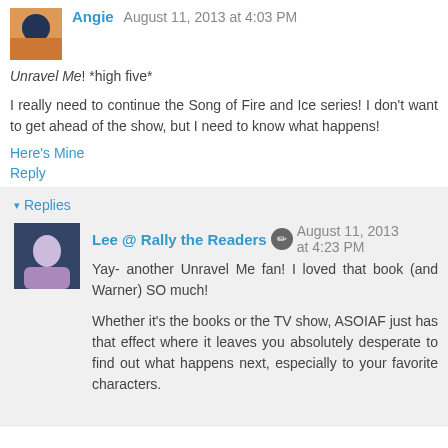Angie August 11, 2013 at 4:03 PM
Unravel Me! *high five*
I really need to continue the Song of Fire and Ice series! I don't want to get ahead of the show, but I need to know what happens!
Here's Mine
Reply
▾ Replies
Lee @ Rally the Readers ✏ August 11, 2013 at 4:23 PM
Yay- another Unravel Me fan! I loved that book (and Warner) SO much!
Whether it's the books or the TV show, ASOIAF just has that effect where it leaves you absolutely desperate to find out what happens next, especially to your favorite characters.